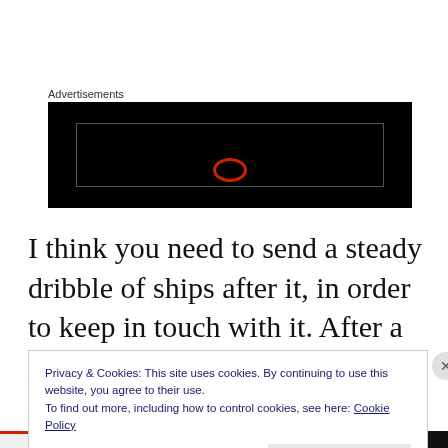Advertisements
[Figure (other): Black advertisement placeholder box with a red circular loading/play icon in the center]
I think you need to send a steady dribble of ships after it, in order to keep in touch with it. After a few decades, you would have a network of these ships. They would be sending all sorts of
Privacy & Cookies: This site uses cookies. By continuing to use this website, you agree to their use.
To find out more, including how to control cookies, see here: Cookie Policy
Close and accept